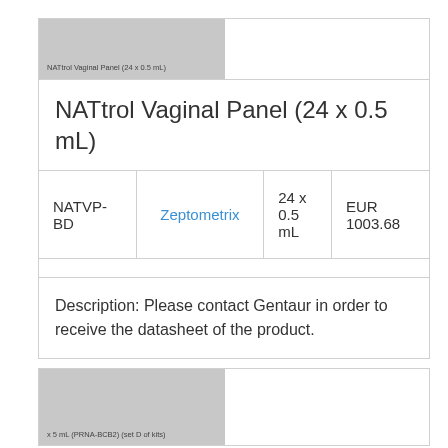[Figure (screenshot): Small grey thumbnail of product card header showing 'NATtrol Vaginal Panel (24 x 0.5 mL)' label]
NATtrol Vaginal Panel (24 x 0.5 mL)
|  |  |  |  |
| --- | --- | --- | --- |
| NATVP-BD | Zeptometrix | 24 x 0.5 mL | EUR 1003.68 |
Description: Please contact Gentaur in order to receive the datasheet of the product.
[Figure (screenshot): Partial grey thumbnail of another product card, showing partial text label at bottom]